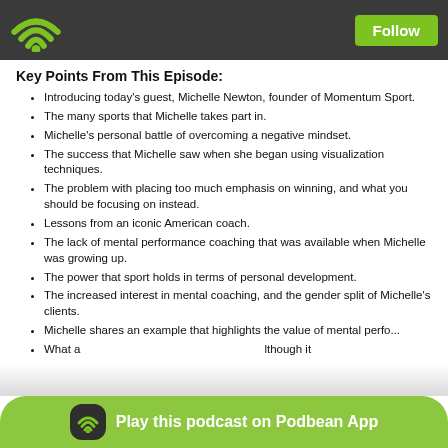Podbean app header with WiFi logo and Follow button
Key Points From This Episode:
Introducing today's guest, Michelle Newton, founder of Momentum Sport.
The many sports that Michelle takes part in.
Michelle's personal battle of overcoming a negative mindset.
The success that Michelle saw when she began using visualization techniques.
The problem with placing too much emphasis on winning, and what you should be focusing on instead.
Lessons from an iconic American coach.
The lack of mental performance coaching that was available when Michelle was growing up.
The power that sport holds in terms of personal development.
The increased interest in mental coaching, and the gender split of Michelle's clients.
Michelle shares an example that highlights the value of mental perfo...
What a... although it
Play this podcast on Podbean App